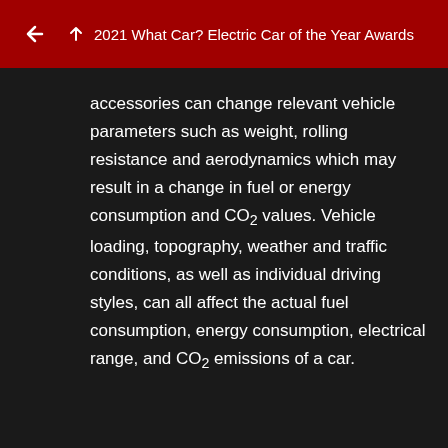2021 What Car? Electric Car of the Year Awards
accessories can change relevant vehicle parameters such as weight, rolling resistance and aerodynamics which may result in a change in fuel or energy consumption and CO₂ values. Vehicle loading, topography, weather and traffic conditions, as well as individual driving styles, can all affect the actual fuel consumption, energy consumption, electrical range, and CO₂ emissions of a car.
** Important information about the all-electric Porsche models can be found here